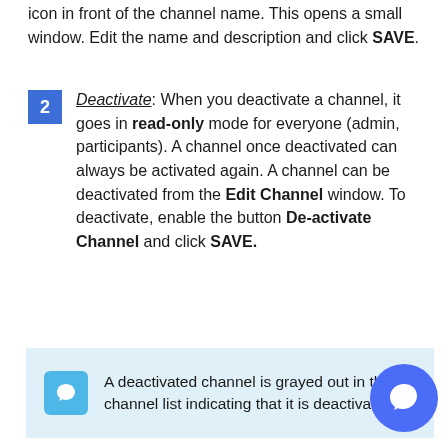icon in front of the channel name. This opens a small window. Edit the name and description and click SAVE.
Deactivate: When you deactivate a channel, it goes in read-only mode for everyone (admin, participants). A channel once deactivated can always be activated again. A channel can be deactivated from the Edit Channel window. To deactivate, enable the button De-activate Channel and click SAVE.
A deactivated channel is grayed out in the channel list indicating that it is deactivated.